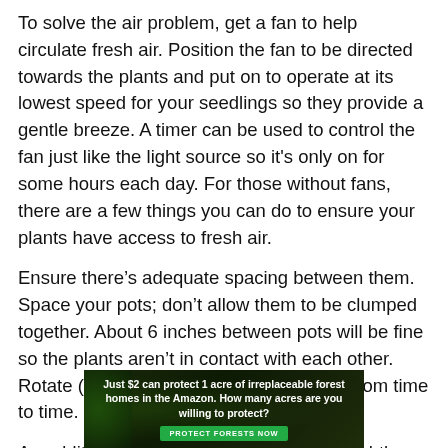To solve the air problem, get a fan to help circulate fresh air. Position the fan to be directed towards the plants and put on to operate at its lowest speed for your seedlings so they provide a gentle breeze. A timer can be used to control the fan just like the light source so it's only on for some hours each day. For those without fans, there are a few things you can do to ensure your plants have access to fresh air.
Ensure there's adequate spacing between them. Space your pots; don't allow them to be clumped together. About 6 inches between pots will be fine so the plants aren't in contact with each other. Rotate (change their position) the plants from time to time.
An additional tip that'll help is running or lightly
[Figure (infographic): Advertisement banner with dark forest background. Text reads: 'Just $2 can protect 1 acre of irreplaceable forest homes in the Amazon. How many acres are you willing to protect?' with a green 'PROTECT FORESTS NOW' button.]